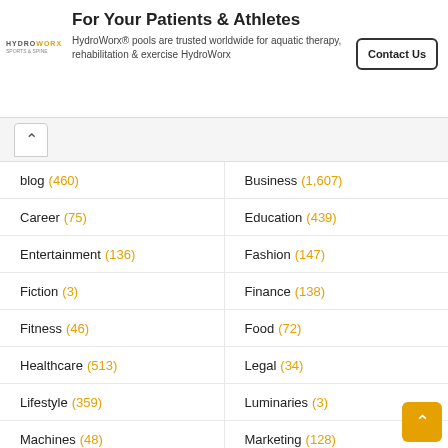[Figure (logo): HydroWorx logo — company name in stylized text]
For Your Patients & Athletes
HydroWorx® pools are trusted worldwide for aquatic therapy, rehabilitation & exercise HydroWorx
blog (460)
Business (1,607)
Career (75)
Education (439)
Entertainment (136)
Fashion (147)
Fiction (3)
Finance (138)
Fitness (46)
Food (72)
Healthcare (513)
Legal (34)
Lifestyle (359)
Luminaries (3)
Machines (48)
Marketing (128)
News (96)
Relationships (23)
Sports (125)
Stories (10)